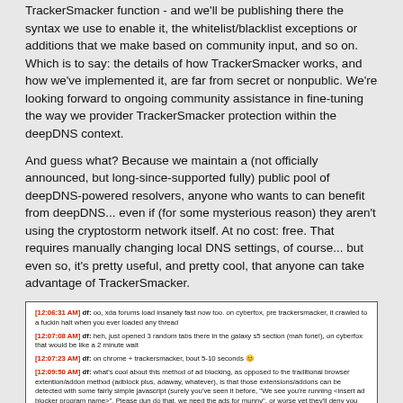TrackerSmacker function - and we'll be publishing there the syntax we use to enable it, the whitelist/blacklist exceptions or additions that we make based on community input, and so on. Which is to say: the details of how TrackerSmacker works, and how we've implemented it, are far from secret or nonpublic. We're looking forward to ongoing community assistance in fine-tuning the way we provider TrackerSmacker protection within the deepDNS context.
And guess what? Because we maintain a (not officially announced, but long-since-supported fully) public pool of deepDNS-powered resolvers, anyone who wants to can benefit from deepDNS... even if (for some mysterious reason) they aren't using the cryptostorm network itself. At no cost: free. That requires manually changing local DNS settings, of course... but even so, it's pretty useful, and pretty cool, that anyone can take advantage of TrackerSmacker.
[Figure (screenshot): Chat log screenshot showing multiple timestamped messages discussing TrackerSmacker's speed improvements on xda forums and its advantage over traditional browser-based ad blocking extensions.]
This post is already longer than it should be, which happens - and we've not yet included some technical details that certainly will be important as TrackerSmacker continues to evolve and expand its ability to block